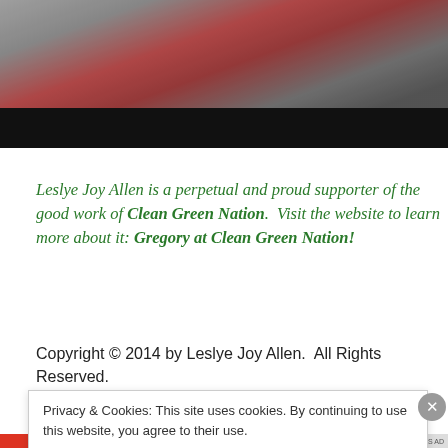[Figure (photo): Photo of a car (red/silver) partially visible at the top of the page, with a dark black bar at the bottom of the image area. The upper portion shows what appears to be a parking lot scene with a car.]
Leslye Joy Allen is a perpetual and proud supporter of the good work of Clean Green Nation.  Visit the website to learn more about it: Gregory at Clean Green Nation!
Copyright © 2014 by Leslye Joy Allen.  All Rights Reserved.
Privacy & Cookies: This site uses cookies. By continuing to use this website, you agree to their use.
To find out more, including how to control cookies, see here: Cookie Policy
Close and accept